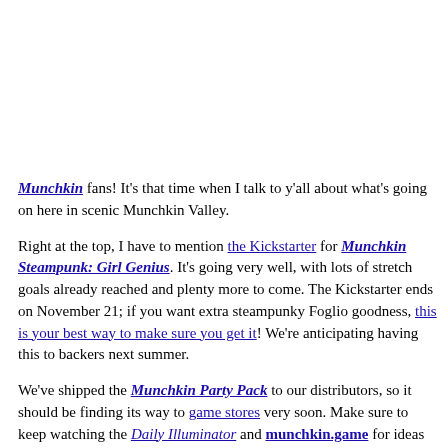Munchkin fans! It's that time when I talk to y'all about what's going on here in scenic Munchkin Valley.
Right at the top, I have to mention the Kickstarter for Munchkin Steampunk: Girl Genius. It's going very well, with lots of stretch goals already reached and plenty more to come. The Kickstarter ends on November 21; if you want extra steampunky Foglio goodness, this is your best way to make sure you get it! We're anticipating having this to backers next summer.
We've shipped the Munchkin Party Pack to our distributors, so it should be finding its way to game stores very soon. Make sure to keep watching the Daily Illuminator and munchkin.game for ideas on setting up your own sweet Munchkin party!